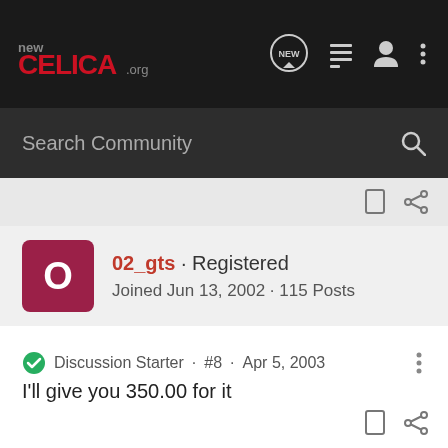New Celica .org — Search Community
02_gts · Registered
Joined Jun 13, 2002 · 115 Posts
Discussion Starter · #8 · Apr 5, 2003
I'll give you 350.00 for it